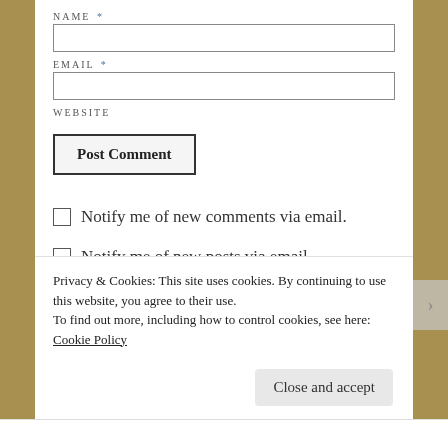NAME *
EMAIL *
WEBSITE
Post Comment
Notify me of new comments via email.
Notify me of new posts via email.
Privacy & Cookies: This site uses cookies. By continuing to use this website, you agree to their use. To find out more, including how to control cookies, see here: Cookie Policy
Close and accept